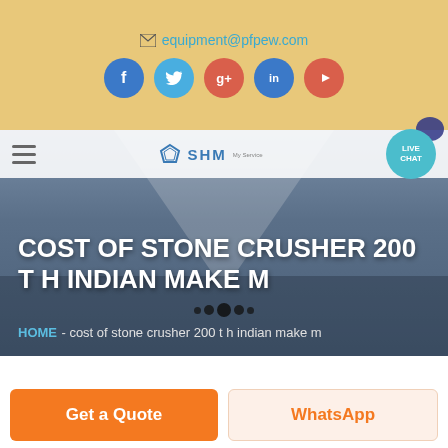equipment@pfpew.com
[Figure (screenshot): Social media icons: Facebook, Twitter, Google+, LinkedIn, YouTube]
[Figure (logo): SHM company logo with diamond icon]
[Figure (screenshot): Live Chat button (teal circle) with chat bubble decoration]
COST OF STONE CRUSHER 200 T H INDIAN MAKE M
HOME - cost of stone crusher 200 t h indian make m
[Figure (screenshot): Get a Quote orange button and WhatsApp button]